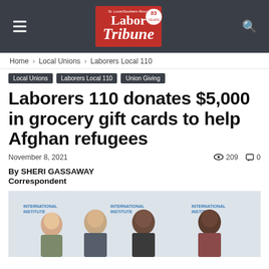Labor Tribune — St. Louis/Southern Illinois Labor Tribune, 83 Years
Home › Local Unions › Laborers Local 110
Local Unions   Laborers Local 110   Union Giving
Laborers 110 donates $5,000 in grocery gift cards to help Afghan refugees
November 8, 2021   👁 209   💬 0
By SHERI GASSAWAY
Correspondent
[Figure (photo): Four people standing in front of an International Institute backdrop, smiling for a photo — three men and one woman.]